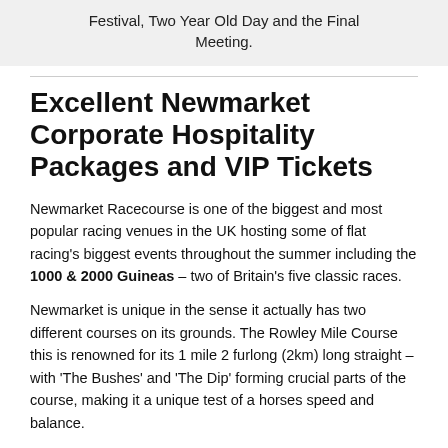Festival, Two Year Old Day and the Final Meeting.
Excellent Newmarket Corporate Hospitality Packages and VIP Tickets
Newmarket Racecourse is one of the biggest and most popular racing venues in the UK hosting some of flat racing's biggest events throughout the summer including the 1000 & 2000 Guineas – two of Britain's five classic races.
Newmarket is unique in the sense it actually has two different courses on its grounds. The Rowley Mile Course this is renowned for its 1 mile 2 furlong (2km) long straight – with 'The Bushes' and 'The Dip' forming crucial parts of the course, making it a unique test of a horses speed and balance.
The Rowley Mile at Newmarket Racecourse is used at the